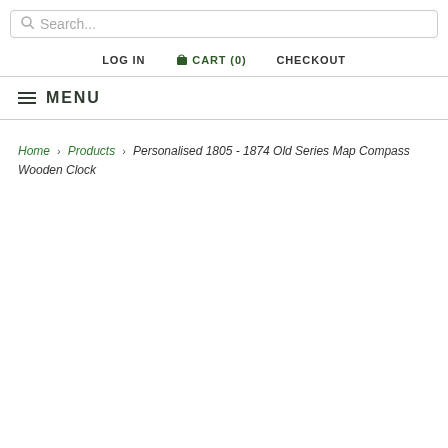Search...
LOG IN  CART (0)  CHECKOUT
MENU
Home > Products > Personalised 1805 - 1874 Old Series Map Compass Wooden Clock